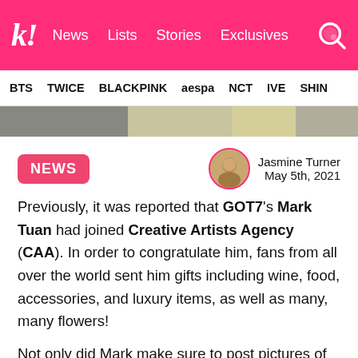koreaboo | News  Lists  Stories  Exclusives
BTS  TWICE  BLACKPINK  aespa  NCT  IVE  SHIN
[Figure (photo): Partial image showing a person in dark clothing with a yellow accessory, cropped to show only the upper portion]
NEWS  Jasmine Turner  May 5th, 2021
Previously, it was reported that GOT7's Mark Tuan had joined Creative Artists Agency (CAA). In order to congratulate him, fans from all over the world sent him gifts including wine, food, accessories, and luxury items, as well as many, many flowers!
Not only did Mark make sure to post pictures of him amongst all the gifts gathered in CAA's